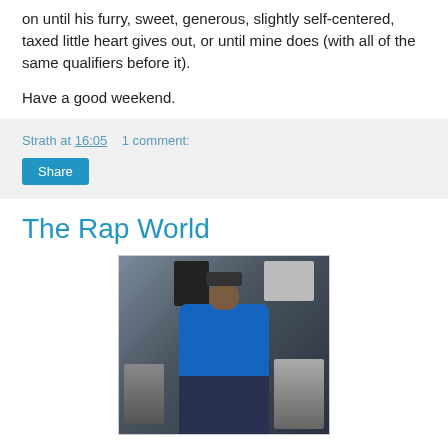on until his furry, sweet, generous, slightly self-centered, taxed little heart gives out, or until mine does (with all of the same qualifiers before it).
Have a good weekend.
Strath at 16:05    1 comment:
The Rap World
[Figure (photo): A man in a blue sweatshirt and cap posing among music studio equipment including speakers, monitors, and turntables]